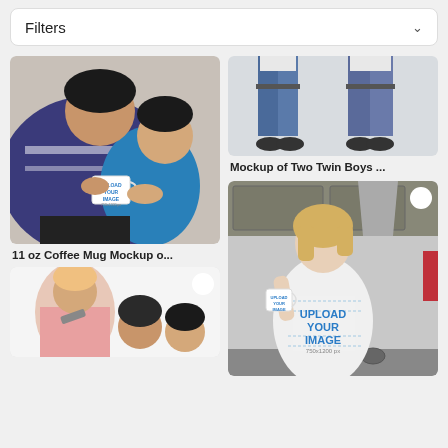Filters
[Figure (photo): Woman in purple striped sweater holding a white coffee mug with child]
11 oz Coffee Mug Mockup o...
[Figure (photo): Two twin boys in jeans standing side by side]
Mockup of Two Twin Boys ...
[Figure (photo): Blonde woman in white t-shirt holding coffee mug in kitchen]
[Figure (photo): Woman with children partial view at bottom left]